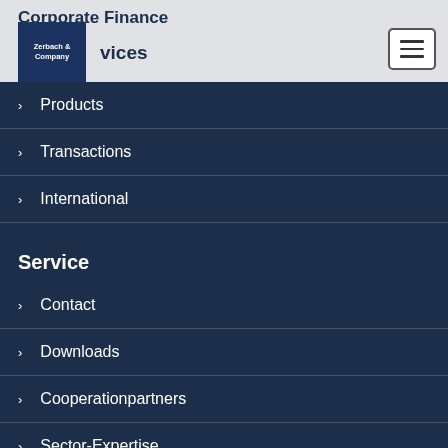Corporate Finance
[Figure (logo): Zerbach & Company logo — white text on dark blue square]
Services
Products
Transactions
International
Service
Contact
Downloads
Cooperationpartners
Sector-Expertise